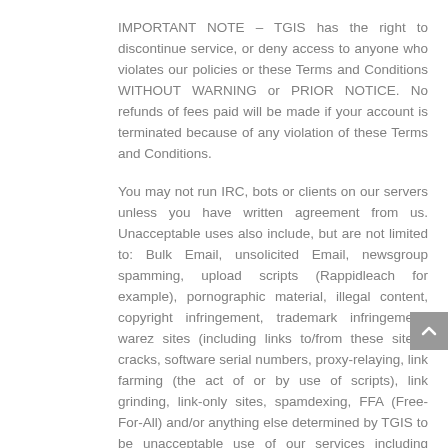IMPORTANT NOTE – TGIS has the right to discontinue service, or deny access to anyone who violates our policies or these Terms and Conditions WITHOUT WARNING or PRIOR NOTICE. No refunds of fees paid will be made if your account is terminated because of any violation of these Terms and Conditions.
You may not run IRC, bots or clients on our servers unless you have written agreement from us. Unacceptable uses also include, but are not limited to: Bulk Email, unsolicited Email, newsgroup spamming, upload scripts (Rappidleach for example), pornographic material, illegal content, copyright infringement, trademark infringement, warez sites (including links to/from these sites), cracks, software serial numbers, proxy-relaying, link farming (the act of or by use of scripts), link grinding, link-only sites, spamdexing, FFA (Free-For-All) and/or anything else determined by TGIS to be unacceptable use of our services including abuse of system resources.